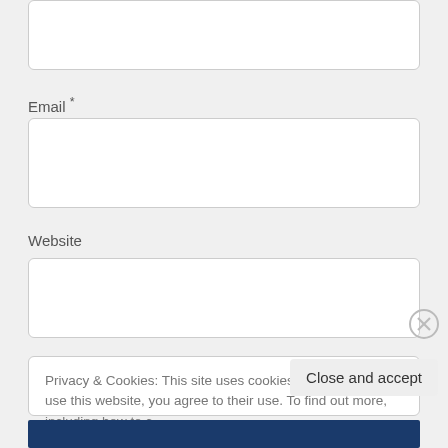[Figure (screenshot): Empty text input box at the top of a web form]
Email *
[Figure (screenshot): Email input field (text box)]
Website
[Figure (screenshot): Website input field (text box)]
Privacy & Cookies: This site uses cookies. By continuing to use this website, you agree to their use. To find out more, including how to c… here: Cookie Policy
Close and accept